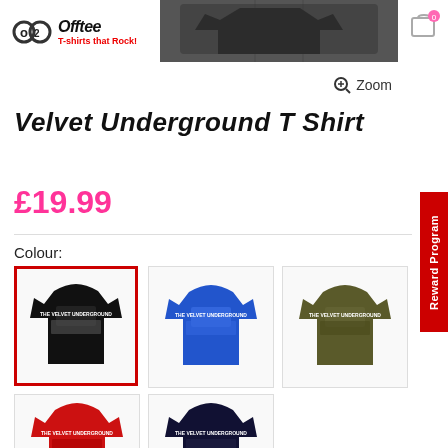T-shirts that Rock!
[Figure (photo): T-shirt preview image in header area showing a dark t-shirt with band graphic]
Zoom
Velvet Underground T Shirt
£19.99
Colour:
[Figure (photo): Black Velvet Underground t-shirt with band photo graphic, selected (red border)]
[Figure (photo): Blue Velvet Underground t-shirt with band photo graphic]
[Figure (photo): Olive/army green Velvet Underground t-shirt with band photo graphic]
[Figure (photo): Red Velvet Underground t-shirt with band photo graphic (partially visible)]
[Figure (photo): Navy/dark Velvet Underground t-shirt with band photo graphic (partially visible)]
Reward Program